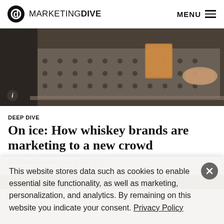MARKETING DIVE — MENU
[Figure (photo): Close-up photo of a whiskey glass on a metal bar surface with perforated pattern, a hand visible in the background]
DEEP DIVE
On ice: How whiskey brands are marketing to a new crowd
By Sara Karlovitch • July 19, 2022
[Figure (photo): Partially visible second photo strip at bottom of article area]
This website stores data such as cookies to enable essential site functionality, as well as marketing, personalization, and analytics. By remaining on this website you indicate your consent. Privacy Policy